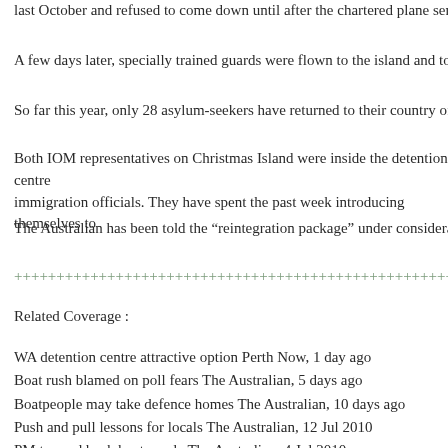last October and refused to come down until after the chartered plane sent to co
A few days later, specially trained guards were flown to the island and took the
So far this year, only 28 asylum-seekers have returned to their country of origin
Both IOM representatives on Christmas Island were inside the detention centre
immigration officials. They have spent the past week introducing themselves to
The Australian has been told the “reintegration package” under consideration w
++++++++++++++++++++++++++++++++++++++++++++++++++++++
Related Coverage :
WA detention centre attractive option Perth Now, 1 day ago
Boat rush blamed on poll fears The Australian, 5 days ago
Boatpeople may take defence homes The Australian, 10 days ago
Push and pull lessons for locals The Australian, 12 Jul 2010
PM to send back boatpeople The Australian, 4 Jul 2010